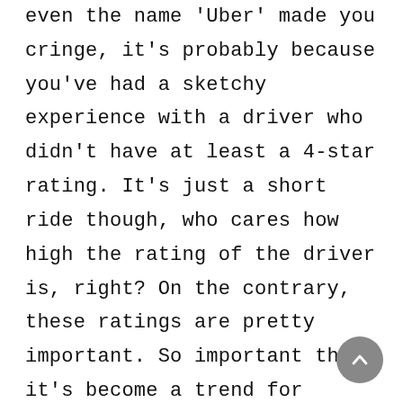even the name 'Uber' made you cringe, it's probably because you've had a sketchy experience with a driver who didn't have at least a 4-star rating. It's just a short ride though, who cares how high the rating of the driver is, right? On the contrary, these ratings are pretty important. So important that it's become a trend for people to post their high Uber rating in a bio on social media (because a 4.8 Uber rating means you'll be a 4.8 level